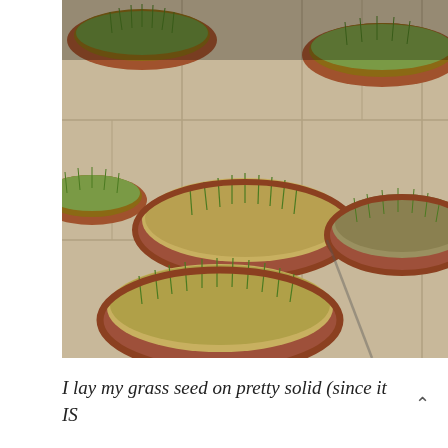[Figure (photo): Multiple round shallow pots/trays with soil and sprouting grass seedlings arranged on a tile floor. The pots have red/terracotta colored rims and contain grass at various stages of early growth.]
I lay my grass seed on pretty solid (since it IS